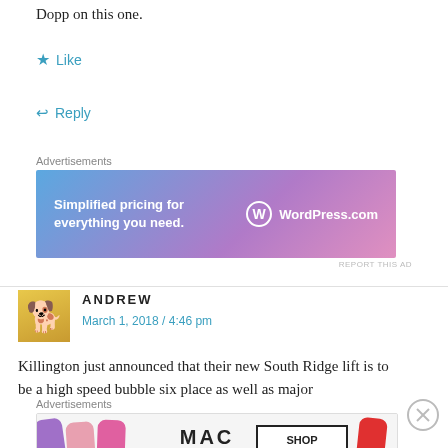Dopp on this one.
★ Like
↩ Reply
Advertisements
[Figure (screenshot): WordPress.com advertisement banner: 'Simplified pricing for everything you need.' with WordPress.com logo]
REPORT THIS AD
ANDREW
March 1, 2018 / 4:46 pm
Killington just announced that their new South Ridge lift is to be a high speed bubble six place as well as major
Advertisements
[Figure (screenshot): MAC Cosmetics advertisement banner showing lipsticks with 'SHOP NOW' button]